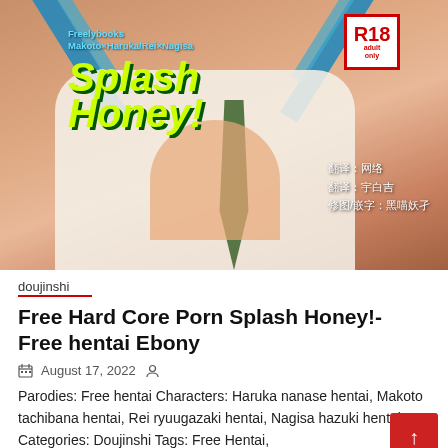[Figure (illustration): Manga/doujinshi cover art for 'Splash Honey!' with R18 badge, blue diagonal stripes, anime characters, and Chinese text credits. Text: Freelybooks Makoto×Haruka/Rei×Nagisa, Splash Honey!, R18 adult only.]
doujinshi
Free Hard Core Porn Splash Honey!- Free hentai Ebony
August 17, 2022
Parodies: Free hentai Characters: Haruka nanase hentai, Makoto tachibana hentai, Rei ryuugazaki hentai, Nagisa hazuki hentai Categories: Doujinshi Tags: Free Hentai,